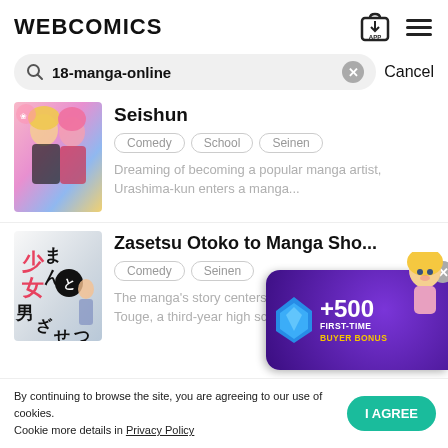WEBCOMICS
18-manga-online
Seishun
Comedy   School   Seinen
Dreaming of becoming a popular manga artist, Urashima-kun enters a manga...
Zasetsu Otoko to Manga Sho...
Comedy   Seinen
The manga's story centers on A... Touge, a third-year high scho...
+500
FIRST-TIME
BUYER BONUS
By continuing to browse the site, you are agreeing to our use of cookies.
Cookie more details in Privacy Policy